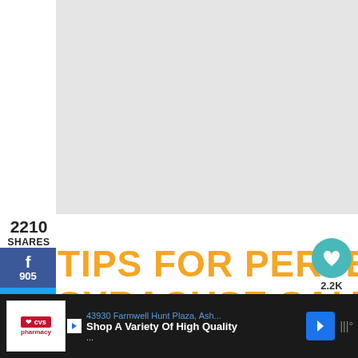[Figure (photo): Gray placeholder image area at top of page]
2210
SHARES
[Figure (infographic): Social media share buttons sidebar: Facebook (f) 905, Twitter bird icon, Pinterest (p) 1305, Email envelope icon]
TIPS FOR PERFECT SYRACUSE SALT POTATOES
[Figure (infographic): Teal heart like button circle with 2.2K count, and share icon circle]
[Figure (infographic): What's Next: Baingan Chokha with dish photo]
[Figure (screenshot): Bottom advertisement bar: CVS Pharmacy - 43930 Farmwell Hunt Plaza, Ash... Shop A Variety Of High Quality...]